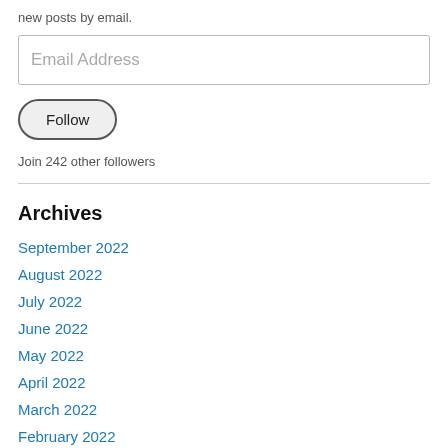new posts by email.
Email Address
Follow
Join 242 other followers
Archives
September 2022
August 2022
July 2022
June 2022
May 2022
April 2022
March 2022
February 2022
January 2022